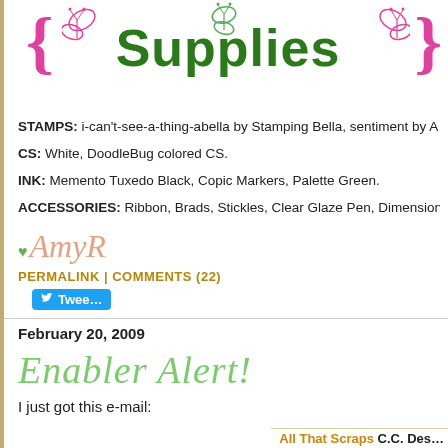[Figure (illustration): Decorative header graphic with the word 'Supplies' in dark green bold font, flanked by pink curly braces on left and right, and decorative butterfly/flower motifs in pink and green.]
STAMPS:  i-can't-see-a-thing-abella by Stamping Bella, sentiment by A Muse, Clear Ova…
CS: White, DoodleBug colored CS.
INK: Memento Tuxedo Black, Copic Markers, Palette Green.
ACCESSORIES: Ribbon, Brads, Stickles, Clear Glaze Pen, Dimensionals, Scallop Edge…
[Figure (illustration): Handwritten cursive signature 'AmyR' in salmon/peach color with a small green heart to the left.]
PERMALINK | COMMENTS (22)
[Figure (other): Twitter Tweet button in blue with bird icon and text 'Twee…']
February 20, 2009
Enabler Alert!
I just got this e-mail:
All That Scraps C.C. Des…